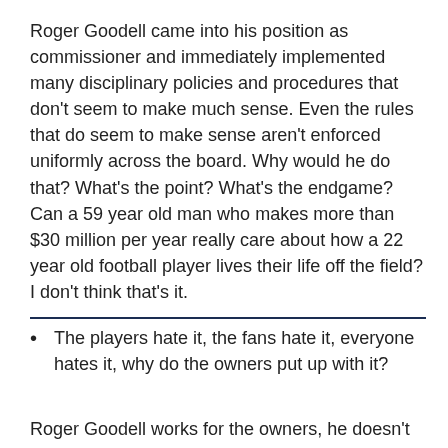Roger Goodell came into his position as commissioner and immediately implemented many disciplinary policies and procedures that don't seem to make much sense. Even the rules that do seem to make sense aren't enforced uniformly across the board. Why would he do that? What's the point? What's the endgame? Can a 59 year old man who makes more than $30 million per year really care about how a 22 year old football player lives their life off the field? I don't think that's it.
The players hate it, the fans hate it, everyone hates it, why do the owners put up with it?
Roger Goodell works for the owners, he doesn't work